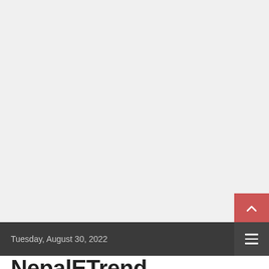Tuesday, August 30, 2022
NepalETrend